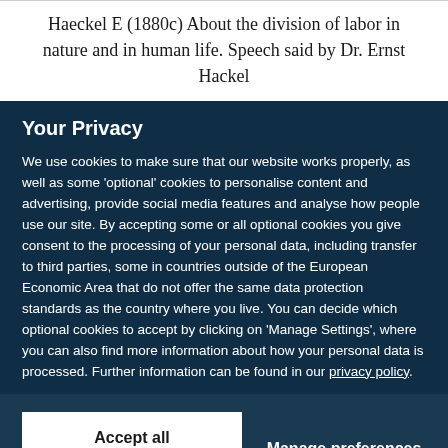Haeckel E (1880c) About the division of labor in nature and in human life. Speech said by Dr. Ernst Hackel
Your Privacy
We use cookies to make sure that our website works properly, as well as some 'optional' cookies to personalise content and advertising, provide social media features and analyse how people use our site. By accepting some or all optional cookies you give consent to the processing of your personal data, including transfer to third parties, some in countries outside of the European Economic Area that do not offer the same data protection standards as the country where you live. You can decide which optional cookies to accept by clicking on 'Manage Settings', where you can also find more information about how your personal data is processed. Further information can be found in our privacy policy.
Accept all cookies
Manage preferences